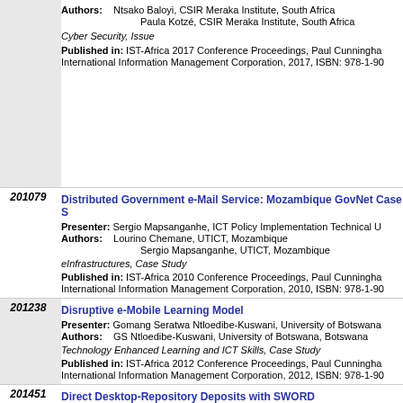Authors: Ntsako Baloyi, CSIR Meraka Institute, South Africa; Paula Kotzé, CSIR Meraka Institute, South Africa
Cyber Security, Issue
Published in: IST-Africa 2017 Conference Proceedings, Paul Cunningha... International Information Management Corporation, 2017, ISBN: 978-1-90...
2010 79 Distributed Government e-Mail Service: Mozambique GovNet Case S...
Presenter: Sergio Mapsanganhe, ICT Policy Implementation Technical U...
Authors: Lourino Chemane, UTICT, Mozambique; Sergio Mapsanganhe, UTICT, Mozambique
eInfrastructures, Case Study
Published in: IST-Africa 2010 Conference Proceedings, Paul Cunningha... International Information Management Corporation, 2010, ISBN: 978-1-90...
2012 38 Disruptive e-Mobile Learning Model
Presenter: Gomang Seratwa Ntloedibe-Kuswani, University of Botswana...
Authors: GS Ntloedibe-Kuswani, University of Botswana, Botswana
Technology Enhanced Learning and ICT Skills, Case Study
Published in: IST-Africa 2012 Conference Proceedings, Paul Cunningha... International Information Management Corporation, 2012, ISBN: 978-1-90...
2014 51 Direct Desktop-Repository Deposits with SWORD
Presenter: Gontlafetse Mosweunyane, University of Botswana, Botswana
Authors: Gontlafetse Mosweunyane, University of Botswana; Leslie Carr, University of Southampton, United Kingdom